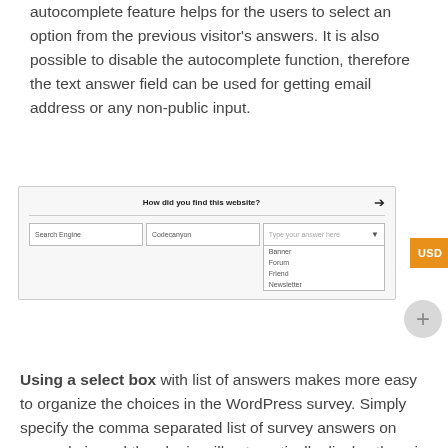autocomplete feature helps for the users to select an option from the previous visitor's answers. It is also possible to disable the autocomplete function, therefore the text answer field can be used for getting email address or any non-public input.
[Figure (screenshot): Screenshot of a survey form asking 'How did you find this website?' with three input fields: Search Engine, Codecanyon, and a dropdown select box showing options: Banner, Forum, Friend, Newsletter.]
Using a select box with list of answers makes more easy to organize the choices in the WordPress survey. Simply specify the comma separated list of survey answers on your admin and the plugin will automatically display them in a select box.